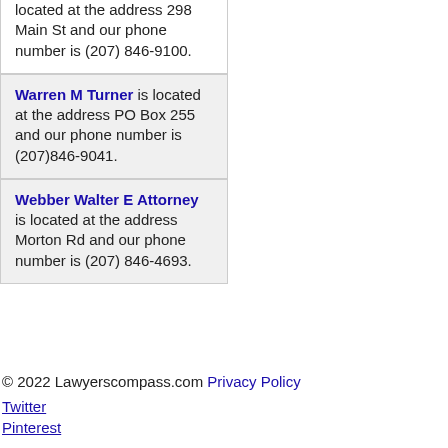located at the address 298 Main St and our phone number is (207) 846-9100.
Warren M Turner is located at the address PO Box 255 and our phone number is (207)846-9041.
Webber Walter E Attorney is located at the address Morton Rd and our phone number is (207) 846-4693.
© 2022 Lawyerscompass.com Privacy Policy Twitter Pinterest